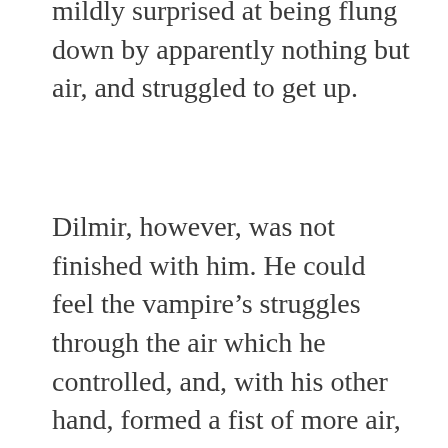mildly surprised at being flung down by apparently nothing but air, and struggled to get up.
Dilmir, however, was not finished with him. He could feel the vampire's struggles through the air which he controlled, and, with his other hand, formed a fist of more air, preparing to beat the vampire down. Cyprien, however, was no ordinary vampire.
“Az rakanar!” he hissed, and Dilmir felt the air he had controlled but a